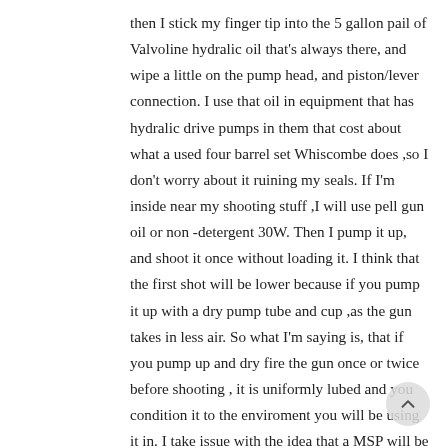then I stick my finger tip into the 5 gallon pail of Valvoline hydralic oil that's always there, and wipe a little on the pump head, and piston/lever connection. I use that oil in equipment that has hydralic drive pumps in them that cost about what a used four barrel set Whiscombe does ,so I don't worry about it ruining my seals. If I'm inside near my shooting stuff ,I will use pell gun oil or non -detergent 30W. Then I pump it up, and shoot it once without loading it. I think that the first shot will be lower because if you pump it up with a dry pump tube and cup ,as the gun takes in less air. So what I'm saying is, that if you pump up and dry fire the gun once or twice before shooting , it is uniformly lubed and you condition it to the enviroment you will be using it in. I take issue with the idea that a MSP will be less uniform in velocity because they heat up and shoot to different POA , if allowed to let sit for awhile. I maintain that for practical purposes , a velocity drop of 3-15 fps (as I have found in my own velocity testing of shooting MSP in cold weather, or after they have been just pumped up